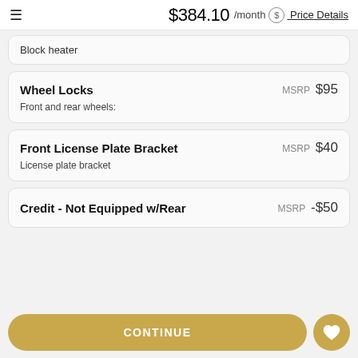$384.10 /month Price Details
Block heater
Wheel Locks
MSRP $95
Front and rear wheels:
Front License Plate Bracket
MSRP $40
License plate bracket
Credit - Not Equipped w/Rear
MSRP -$50